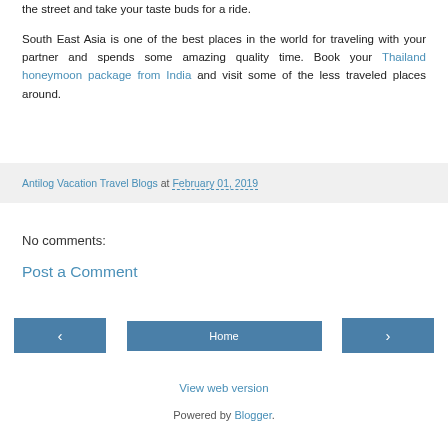the street and take your taste buds for a ride.

South East Asia is one of the best places in the world for traveling with your partner and spends some amazing quality time. Book your Thailand honeymoon package from India and visit some of the less traveled places around.
Antilog Vacation Travel Blogs at February 01, 2019
No comments:
Post a Comment
‹  Home  ›
View web version
Powered by Blogger.